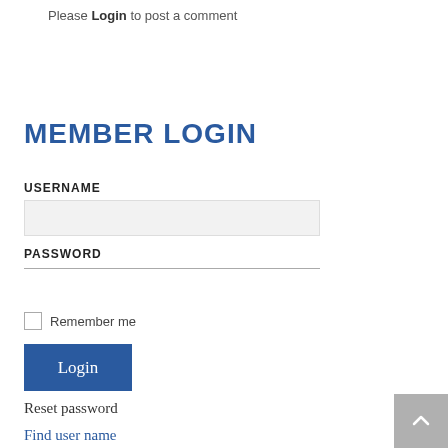Please Login to post a comment
MEMBER LOGIN
USERNAME
PASSWORD
Remember me
Login
Reset password
Find user name